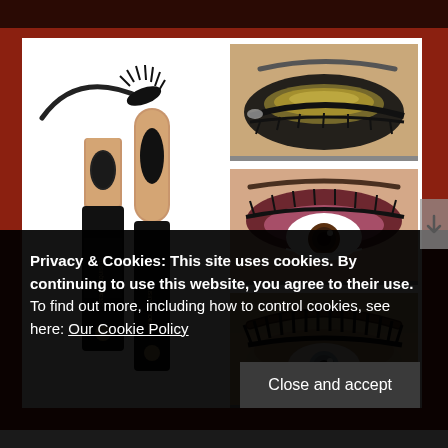[Figure (photo): Product photo of JOEBOL EXQUISITE mascara set (two mascara tubes with rose gold caps, one open showing wand with mascara bristles) on white background, left side of image panel]
[Figure (photo): Three eye makeup close-up photos stacked vertically on the right: top shows dramatic black smoky eye with gold shimmer lid, middle shows brown eye with burgundy/pink eyeshadow and long lashes, bottom shows blue/grey eye with thick voluminous lashes and arched brow]
Privacy & Cookies: This site uses cookies. By continuing to use this website, you agree to their use.
To find out more, including how to control cookies, see here: Our Cookie Policy